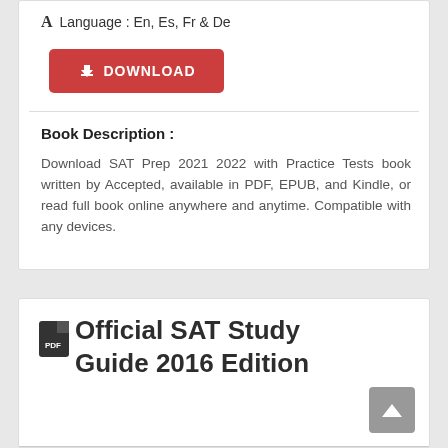A Language : En, Es, Fr & De
[Figure (other): Red download button with download icon and DOWNLOAD text]
Book Description :
Download SAT Prep 2021 2022 with Practice Tests book written by Accepted, available in PDF, EPUB, and Kindle, or read full book online anywhere and anytime. Compatible with any devices.
Official SAT Study Guide 2016 Edition